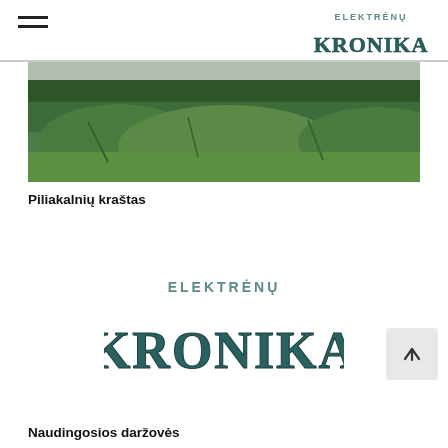ELEKTRĖNŲ KRONIKA (logo, header)
[Figure (photo): Panoramic landscape photo showing green grassy mounds and forested hills under an overcast sky]
Piliakalnių kraštas
[Figure (logo): Elektrėnų Kronika logo — large stylized teal block letters KRONIKA with ELEKTRĖNŲ above in smaller teal text]
Naudingosios daržovės